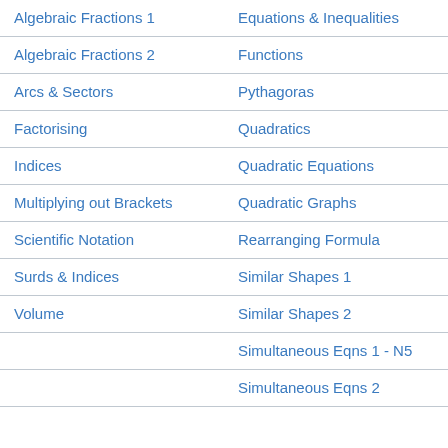Algebraic Fractions 1
Equations & Inequalities
Algebraic Fractions 2
Functions
Arcs & Sectors
Pythagoras
Factorising
Quadratics
Indices
Quadratic Equations
Multiplying out Brackets
Quadratic Graphs
Scientific Notation
Rearranging Formula
Surds & Indices
Similar Shapes 1
Volume
Similar Shapes 2
Simultaneous Eqns 1 - N5
Simultaneous Eqns 2